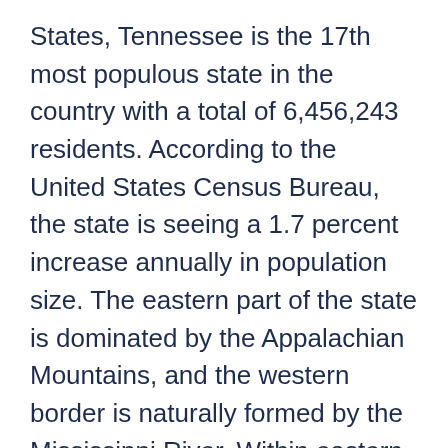States, Tennessee is the 17th most populous state in the country with a total of 6,456,243 residents. According to the United States Census Bureau, the state is seeing a 1.7 percent increase annually in population size. The eastern part of the state is dominated by the Appalachian Mountains, and the western border is naturally formed by the Mississippi River. Within eastern Tennessee is the Great Smoky Mountains National Park, which is the most visited national park in the nation.
Besides some of the higher elevations in the Appalachians, the majority of the state